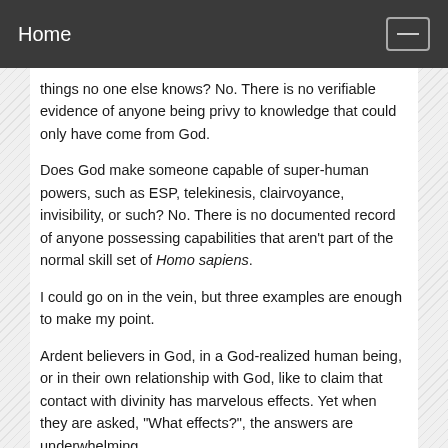Home
things no one else knows? No. There is no verifiable evidence of anyone being privy to knowledge that could only have come from God.
Does God make someone capable of super-human powers, such as ESP, telekinesis, clairvoyance, invisibility, or such? No. There is no documented record of anyone possessing capabilities that aren't part of the normal skill set of Homo sapiens.
I could go on in the vein, but three examples are enough to make my point.
Ardent believers in God, in a God-realized human being, or in their own relationship with God, like to claim that contact with divinity has marvelous effects. Yet when they are asked, "What effects?", the answers are underwhelming.
As noted above, everything that supposedly is good about God also can be had without God. Meaning, a godly person looks no different from an ungodly person.